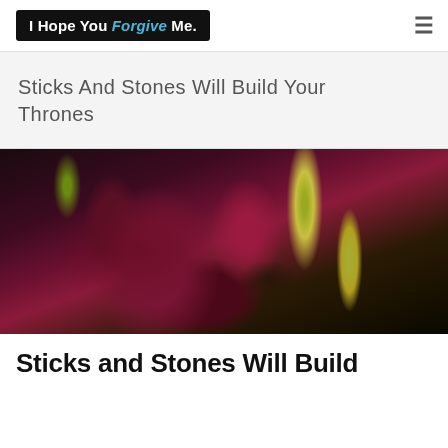I Hope You Forgive Me.
Sticks And Stones Will Build Your Thrones
[Figure (photo): Close-up photo of a dried dark red/maroon rose with yellowed-green leaves/stems against a dark background]
Sticks and Stones Will Build